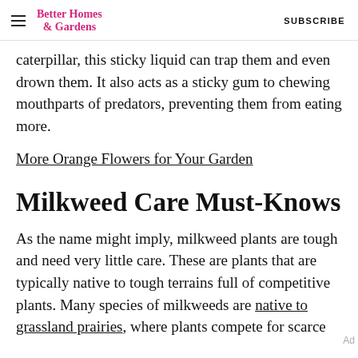Better Homes & Gardens | SUBSCRIBE
caterpillar, this sticky liquid can trap them and even drown them. It also acts as a sticky gum to chewing mouthparts of predators, preventing them from eating more.
More Orange Flowers for Your Garden
Milkweed Care Must-Knows
As the name might imply, milkweed plants are tough and need very little care. These are plants that are typically native to tough terrains full of competitive plants. Many species of milkweeds are native to grassland prairies, where plants compete for scarce